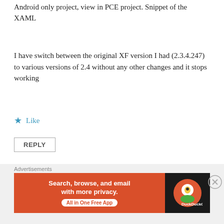Android only project, view in PCE project. Snippet of the XAML
I have switch between the original XF version I had (2.3.4.247) to various versions of 2.4 without any other changes and it stops working
★ Like
REPLY
Alex Dunn
January 25, 2018 at 7:56 am
Have you tried using it outside a listview just to check? I
[Figure (infographic): DuckDuckGo advertisement banner: orange left panel with text 'Search, browse, and email with more privacy. All in One Free App' and dark right panel with DuckDuckGo duck logo]